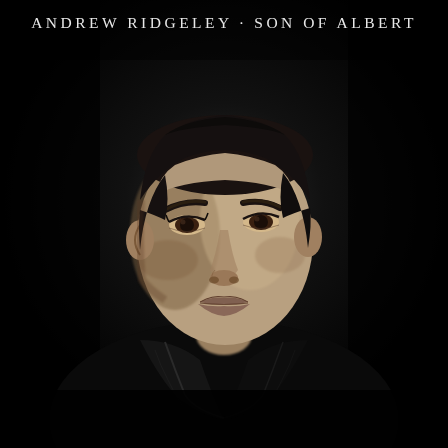[Figure (photo): Black and white album cover photograph of Andrew Ridgeley looking directly at the camera, short dark hair, wearing a black leather jacket, against a very dark/black background. The image is a close-up portrait showing face and upper chest.]
ANDREW RIDGELEY · SON OF ALBERT